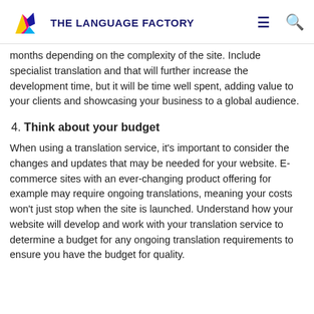THE LANGUAGE FACTORY
months depending on the complexity of the site. Include specialist translation and that will further increase the development time, but it will be time well spent, adding value to your clients and showcasing your business to a global audience.
4. Think about your budget
When using a translation service, it's important to consider the changes and updates that may be needed for your website. E-commerce sites with an ever-changing product offering for example may require ongoing translations, meaning your costs won't just stop when the site is launched. Understand how your website will develop and work with your translation service to determine a budget for any ongoing translation requirements to ensure you have the budget for quality.